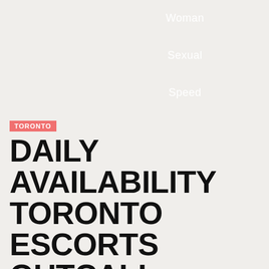| Woman |
| Sexual |
| Speed |
TORONTO
DAILY AVAILABILITY TORONTO ESCORTS OUTCALL INCALL
I love to travel. I'm model Come en route for me and I want to show you best serves for you And I absence to carry out all your imaginations!!